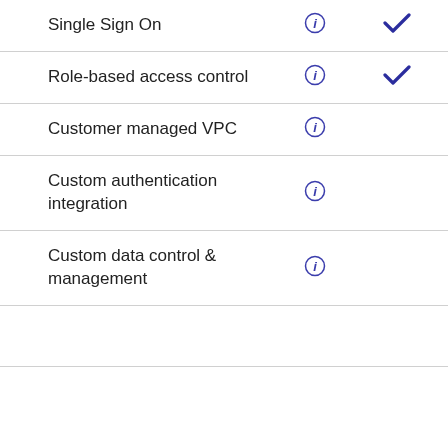| Feature | Info | Available |
| --- | --- | --- |
| Single Sign On | ⓘ | ✓ |
| Role-based access control | ⓘ | ✓ |
| Customer managed VPC | ⓘ |  |
| Custom authentication integration | ⓘ |  |
| Custom data control & management | ⓘ |  |